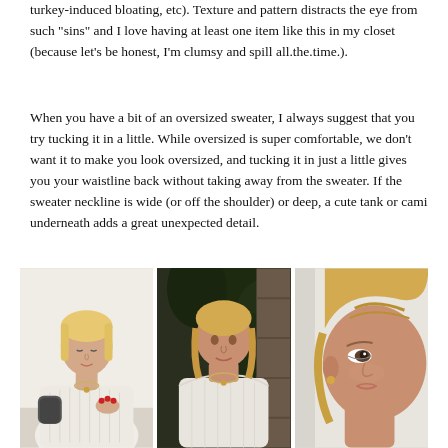turkey-induced bloating, etc). Texture and pattern distracts the eye from such "sins" and I love having at least one item like this in my closet (because let's be honest, I'm clumsy and spill all.the.time.).
When you have a bit of an oversized sweater, I always suggest that you try tucking it in a little. While oversized is super comfortable, we don't want it to make you look oversized, and tucking it in just a little gives you your waistline back without taking away from the sweater. If the sweater neckline is wide (or off the shoulder) or deep, a cute tank or cami underneath adds a great unexpected detail.
[Figure (photo): Three side-by-side photos of a blonde woman: left photo shows her in a white knit sweater holding a dark mug against a white background; center photo shows her in a white off-shoulder sweater against a dark foliage/stone wall background; right photo is a close-up of her hair pulled back, showing her profile against a light background.]